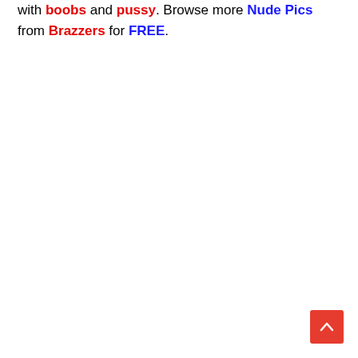with boobs and pussy. Browse more Nude Pics from Brazzers for FREE.